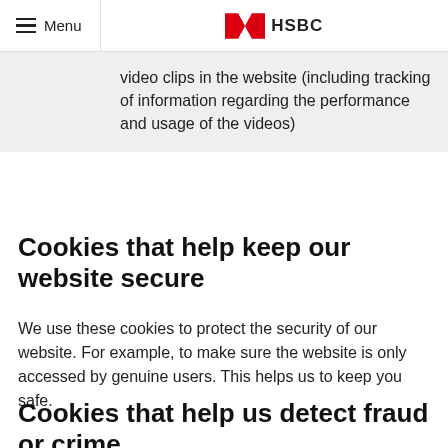Menu  HSBC
|  | video clips in the website (including tracking of information regarding the performance and usage of the videos) |
Cookies that help keep our website secure
We use these cookies to protect the security of our website. For example, to make sure the website is only accessed by genuine users. This helps us to keep you safe.
Cookies that help us detect fraud or crime